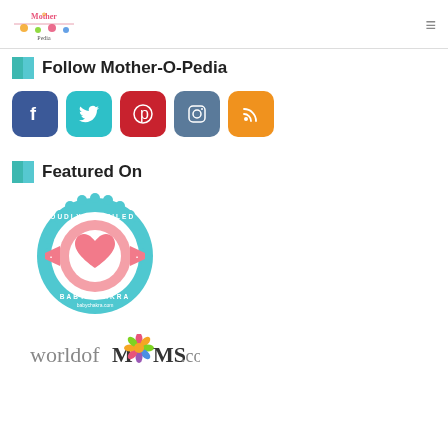Mother-O-Pedia logo and hamburger menu
Follow Mother-O-Pedia
[Figure (illustration): Five social media icon buttons: Facebook (dark blue), Twitter (teal), Pinterest (red), Instagram (slate blue), RSS (orange)]
Featured On
[Figure (logo): BabyChakra badge: teal scalloped circle with ribbon, text PROUDLY PROFILED ON BABY CHAKRA babychakra.com, with pink heart in center circle]
[Figure (logo): worldofMOMS.com logo with colorful flower replacing the O in MOMS]